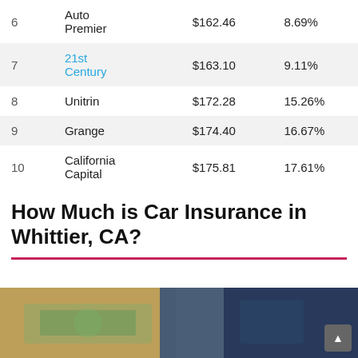| # | Company | Price | Pct |
| --- | --- | --- | --- |
| 6 | Auto Premier | $162.46 | 8.69% |
| 7 | 21st Century | $163.10 | 9.11% |
| 8 | Unitrin | $172.28 | 15.26% |
| 9 | Grange | $174.40 | 16.67% |
| 10 | California Capital | $175.81 | 17.61% |
How Much is Car Insurance in Whittier, CA?
[Figure (photo): Photo of hands holding US dollar bills against a blurred background]